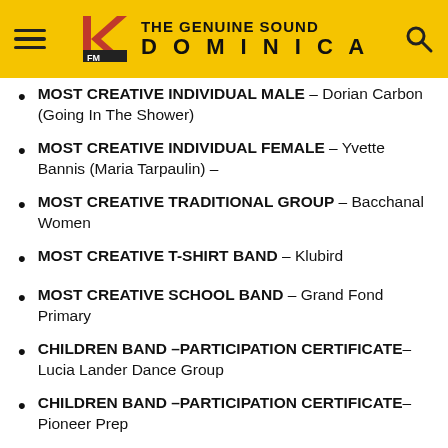Kairi FM – THE GENUINE SOUND DOMINICA
MOST CREATIVE INDIVIDUAL MALE – Dorian Carbon (Going In The Shower)
MOST CREATIVE INDIVIDUAL FEMALE – Yvette Bannis (Maria Tarpaulin) –
MOST CREATIVE TRADITIONAL GROUP – Bacchanal Women
MOST CREATIVE T-SHIRT BAND – Klubird
MOST CREATIVE SCHOOL BAND – Grand Fond Primary
CHILDREN BAND –PARTICIPATION CERTIFICATE– Lucia Lander Dance Group
CHILDREN BAND –PARTICIPATION CERTIFICATE– Pioneer Prep
SECONDARY SCHOOL CERTIFICATE OF